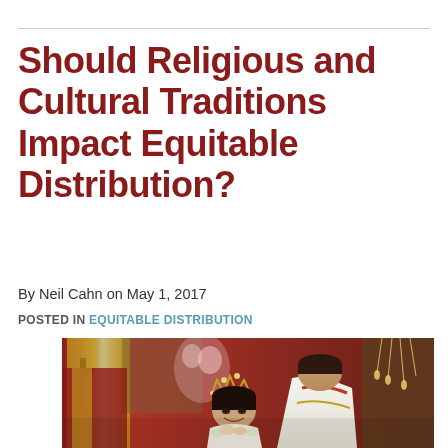Should Religious and Cultural Traditions Impact Equitable Distribution?
By Neil Cahn on May 1, 2017
POSTED IN EQUITABLE DISTRIBUTION
[Figure (photo): A religious wedding ceremony showing a bride wearing a crown and traditional jewelry, smiling, with a groom bowing toward her, both draped in white and gold ceremonial garments. In the background are ornate religious vestments, floral arrangements, and religious icons.]